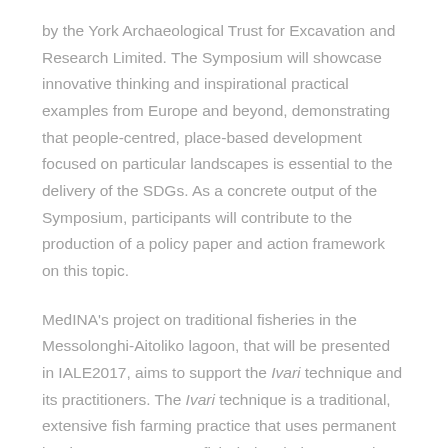by the York Archaeological Trust for Excavation and Research Limited. The Symposium will showcase innovative thinking and inspirational practical examples from Europe and beyond, demonstrating that people-centred, place-based development focused on particular landscapes is essential to the delivery of the SDGs. As a concrete output of the Symposium, participants will contribute to the production of a policy paper and action framework on this topic.
MedINA's project on traditional fisheries in the Messolonghi-Aitoliko lagoon, that will be presented in IALE2017, aims to support the Ivari technique and its practitioners. The Ivari technique is a traditional, extensive fish farming practice that uses permanent barrier traps to capture fish during their seasonal or